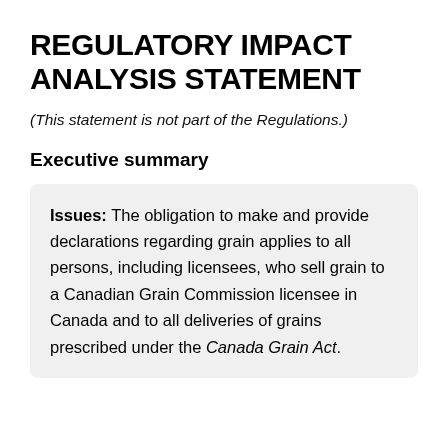REGULATORY IMPACT ANALYSIS STATEMENT
(This statement is not part of the Regulations.)
Executive summary
Issues: The obligation to make and provide declarations regarding grain applies to all persons, including licensees, who sell grain to a Canadian Grain Commission licensee in Canada and to all deliveries of grains prescribed under the Canada Grain Act.